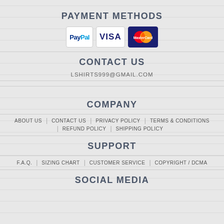PAYMENT METHODS
[Figure (other): Payment method logos: PayPal, VISA, MasterCard]
CONTACT US
LSHIRTS999@GMAIL.COM
COMPANY
ABOUT US
CONTACT US
PRIVACY POLICY
TERMS & CONDITIONS
REFUND POLICY
SHIPPING POLICY
SUPPORT
F.A.Q.
SIZING CHART
CUSTOMER SERVICE
COPYRIGHT / DCMA
SOCIAL MEDIA